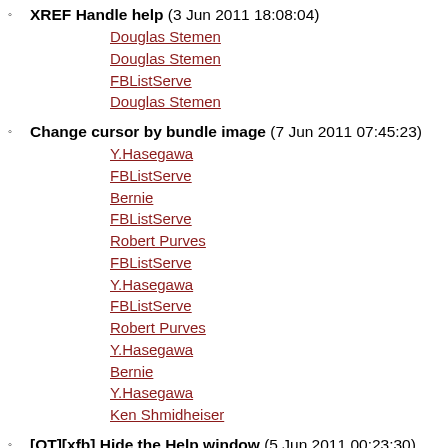XREF Handle help (3 Jun 2011 18:08:04) — replies: Douglas Stemen, Douglas Stemen, FBListServe, Douglas Stemen
Change cursor by bundle image (7 Jun 2011 07:45:23) — replies: Y.Hasegawa, FBListServe, Bernie, FBListServe, Robert Purves, FBListServe, Y.Hasegawa, FBListServe, Robert Purves, Y.Hasegawa, Bernie, Y.Hasegawa, Ken Shmidheiser
[OT][xfb] Hide the Help window (5 Jun 2011 00:23:30) — replies: Dan Baeckström, Bernie, FBListServe, Dan Baeckström, FBListServe